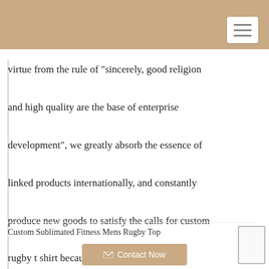To regularly increase the management program by
virtue from the rule of "sincerely, good religion and high quality are the base of enterprise development", we greatly absorb the essence of linked products internationally, and constantly produce new goods to satisfy the calls for custom rugby t shirt because we're much additional Skilled! So make sure you will not wait to contact us.
Custom Sublimated Fitness Mens Rugby Top